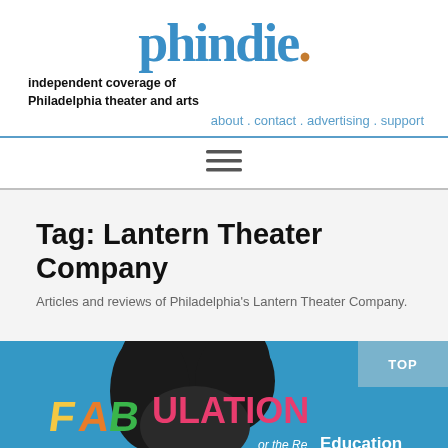phindie.
independent coverage of Philadelphia theater and arts
about . contact . advertising . support
[Figure (other): Hamburger menu icon (three horizontal lines)]
Tag: Lantern Theater Company
Articles and reviews of Philadelphia's Lantern Theater Company.
[Figure (photo): Colorful theatrical poster for 'Fabulation or the Re-Education of...' showing stylized text on a teal background with a person's silhouette, and a 'TOP' badge in the upper right corner.]